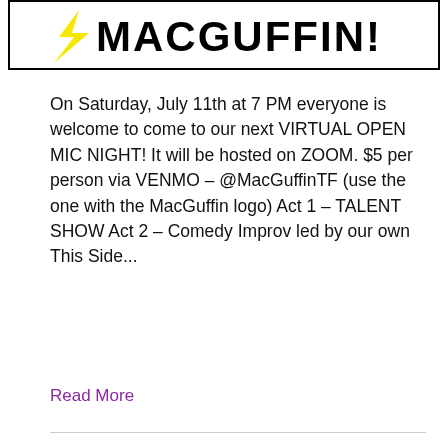[Figure (logo): MacGuffin Theatre Foundation banner/logo with bold block letters and yellow lightning bolt graphic, bordered by a black rectangle frame]
On Saturday, July 11th at 7 PM everyone is welcome to come to our next VIRTUAL OPEN MIC NIGHT! It will be hosted on ZOOM. $5 per person via VENMO – @MacGuffinTF (use the one with the MacGuffin logo) Act 1 – TALENT SHOW Act 2 – Comedy Improv led by our own This Side...
Read More
A Message to Our Theatre Community